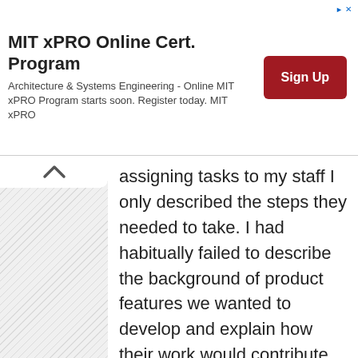[Figure (screenshot): MIT xPRO Online Cert. Program advertisement banner with title, subtitle text about Architecture & Systems Engineering, and a red Sign Up button]
assigning tasks to my staff I only described the steps they needed to take. I had habitually failed to describe the background of product features we wanted to develop and explain how their work would contribute to and improve the overall product. My staff would just do what I had asked of them without understanding the context of their efforts. Secondly, while explaining how to complete